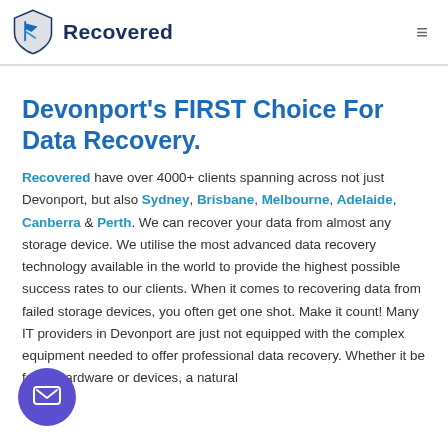Recovered
Devonport's FIRST Choice For Data Recovery.
Recovered have over 4000+ clients spanning across not just Devonport, but also Sydney, Brisbane, Melbourne, Adelaide, Canberra & Perth. We can recover your data from almost any storage device. We utilise the most advanced data recovery technology available in the world to provide the highest possible success rates to our clients. When it comes to recovering data from failed storage devices, you often get one shot. Make it count! Many IT providers in Devonport are just not equipped with the complex equipment needed to offer professional data recovery. Whether it be failed hardware or devices, a natural